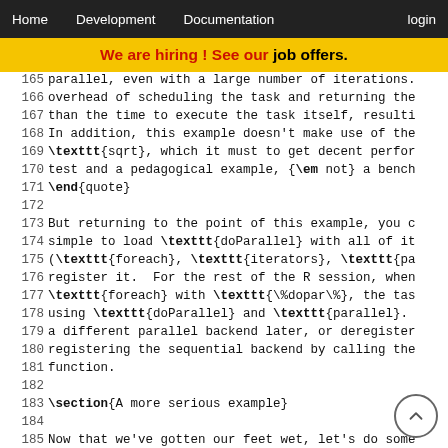Home   Development   Documentation   login
We are hiring! See our job offers.
165  parallel, even with a large number of iterations.
166  overhead of scheduling the task and returning the
167  than the time to execute the task itself, resulti
168  In addition, this example doesn't make use of the
169  \texttt{sqrt}, which it must to get decent perfor
170  test and a pedagogical example, {\em not} a bench
171  \end{quote}
172
173  But returning to the point of this example, you c
174  simple to load \texttt{doParallel} with all of it
175  (\texttt{foreach}, \texttt{iterators}, \texttt{pa
176  register it.  For the rest of the R session, when
177  \texttt{foreach} with \texttt{\%dopar\%}, the tas
178  using \texttt{doParallel} and \texttt{parallel}.
179  a different parallel backend later, or deregister
180  registering the sequential backend by calling the
181  function.
182
183  \section{A more serious example}
184
185  Now that we've gotten our feet wet, let's do some